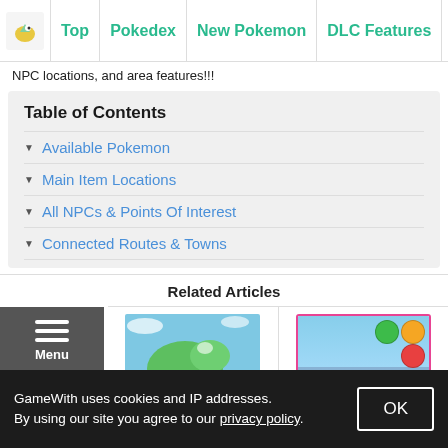Top | Pokedex | New Pokemon | DLC Features | Best R
NPC locations, and area features!!!
Table of Contents
Available Pokemon
Main Item Locations
All NPCs & Points Of Interest
Connected Routes & Towns
Related Articles
[Figure (map): Map thumbnail showing a region/world map with blue ocean and green landmass]
[Figure (screenshot): Story Walkthrough thumbnail with pink border, game scene background, and colored icons]
GameWith uses cookies and IP addresses. By using our site you agree to our privacy policy.